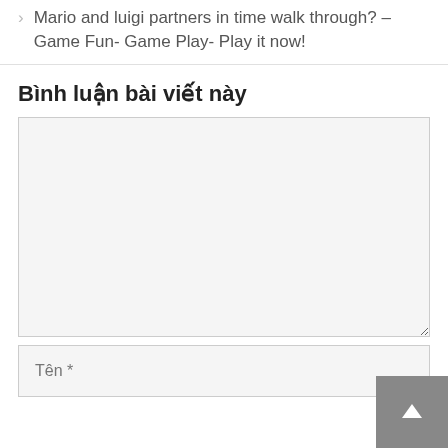Mario and luigi partners in time walk through? – Game Fun- Game Play- Play it now!
Bình luận bài viết này
[comment textarea - empty]
Tên *